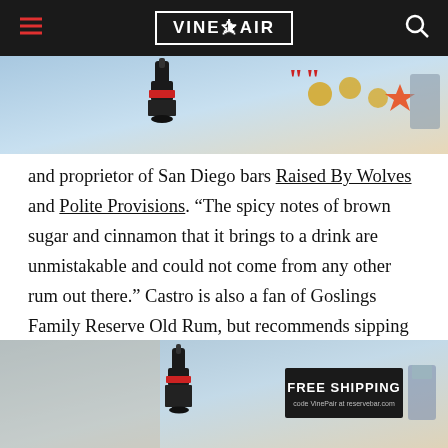VinePair
[Figure (photo): Advertisement banner showing a dark rum bottle on a gradient blue-to-warm background with cocktail glass and decorative coin/star elements]
and proprietor of San Diego bars Raised By Wolves and Polite Provisions. “The spicy notes of brown sugar and cinnamon that it brings to a drink are unmistakable and could not come from any other rum out there.” Castro is also a fan of Goslings Family Reserve Old Rum, but recommends sipping that rather than mixing it.
[Figure (photo): Advertisement banner showing a dark rum bottle on a gradient background with FREE SHIPPING text overlay and cocktail glass, code VinePair at reservebar.com]